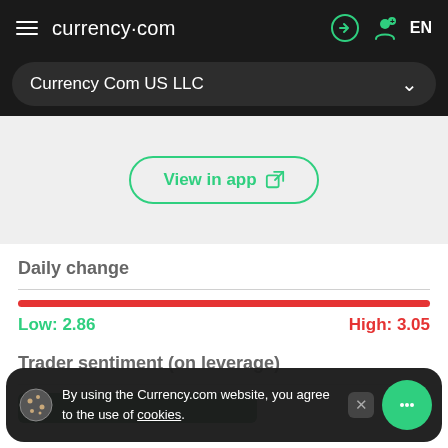currency.com  EN
Currency Com US LLC
[Figure (screenshot): Chart area placeholder with 'View in app' button]
Daily change
[Figure (other): Red horizontal range bar showing daily price range]
Low: 2.86   High: 3.05
Trader sentiment (on leverage)
By using the Currency.com website, you agree to the use of cookies.